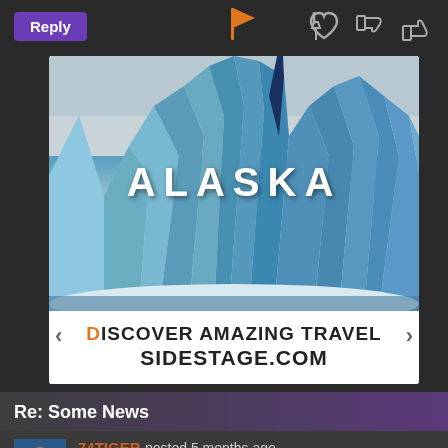Reply
[Figure (screenshot): Travel advertisement showing Alaska glacier image with text 'DISCOVER AMAZING TRAVEL SIDESTAGE.COM']
Re: Some News
74TIGER posted 5 months ago CU Medallion [58896 pts / 100%]